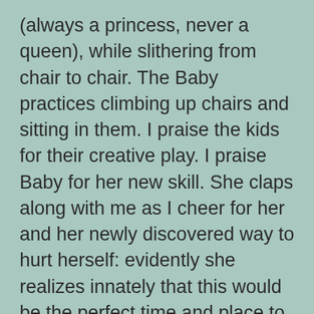(always a princess, never a queen), while slithering from chair to chair. The Baby practices climbing up chairs and sitting in them. I praise the kids for their creative play. I praise Baby for her new skill. She claps along with me as I cheer for her and her newly discovered way to hurt herself: evidently she realizes innately that this would be the perfect time and place to fall and split her skull open.
By the time we leave the office, it is 12:30, and these kids need lunch. As a reward for their good behavior on the drive and in the appointment, we go to McDonald's but don't